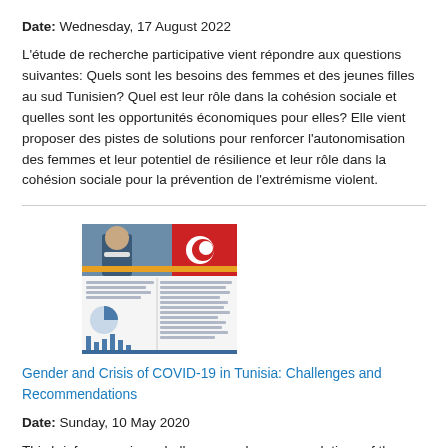Date: Wednesday, 17 August 2022
L'étude de recherche participative vient répondre aux questions suivantes: Quels sont les besoins des femmes et des jeunes filles au sud Tunisien? Quel est leur rôle dans la cohésion sociale et quelles sont les opportunités économiques pour elles? Elle vient proposer des pistes de solutions pour renforcer l'autonomisation des femmes et leur potentiel de résilience et leur rôle dans la cohésion sociale pour la prévention de l'extrémisme violent.
[Figure (screenshot): Thumbnail image of a document about Gender and Crisis of COVID-19 in Tunisia, showing a person with a face mask and Tunisian flag at top, with text and a bar chart below]
Gender and Crisis of COVID-19 in Tunisia: Challenges and Recommendations
Date: Sunday, 10 May 2020
This brief summarizes challenges and recommendations of the impact of the recent pandemic of COVID-19 in Tunisia on gender-based violence, access to justice, women and health, and women's